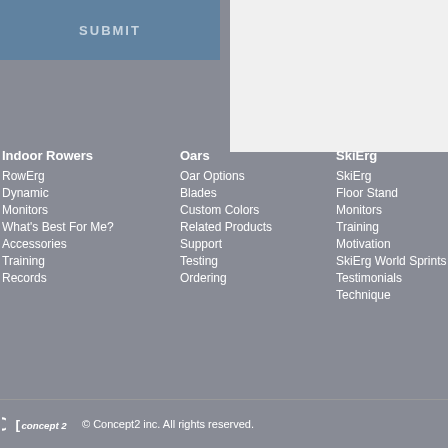[Figure (screenshot): Submit button area with blue/steel background]
Indoor Rowers
RowErg
Dynamic
Monitors
What's Best For Me?
Accessories
Training
Records
Oars
Oar Options
Blades
Custom Colors
Related Products
Support
Testing
Ordering
SkiErg
SkiErg
Floor Stand
Monitors
Training
Motivation
SkiErg World Sprints
Testimonials
Technique
© Concept2 inc. All rights reserved.